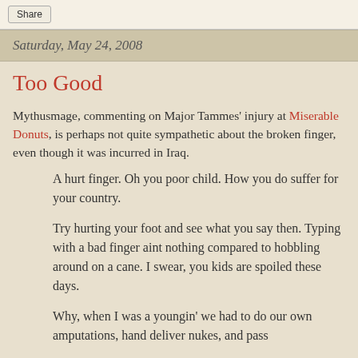Share
Saturday, May 24, 2008
Too Good
Mythusmage, commenting on Major Tammes' injury at Miserable Donuts, is perhaps not quite sympathetic about the broken finger, even though it was incurred in Iraq.
A hurt finger. Oh you poor child. How you do suffer for your country.
Try hurting your foot and see what you say then. Typing with a bad finger aint nothing compared to hobbling around on a cane. I swear, you kids are spoiled these days.
Why, when I was a youngin' we had to do our own amputations, hand deliver nukes, and pass